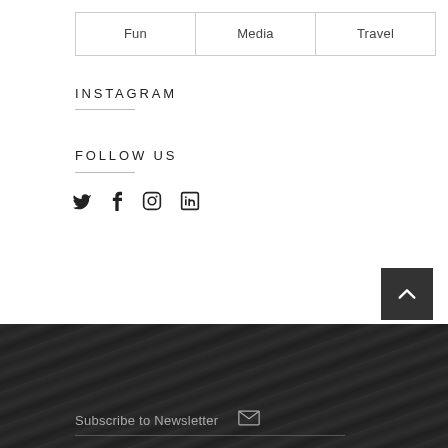Fun
Media
Travel
INSTAGRAM
FOLLOW US
[Figure (other): Social media icons: Twitter, Facebook, Instagram, LinkedIn]
[Figure (other): Back to top button with upward chevron arrow on dark background]
Subscribe to Newsletter
[Figure (other): Envelope/email icon]